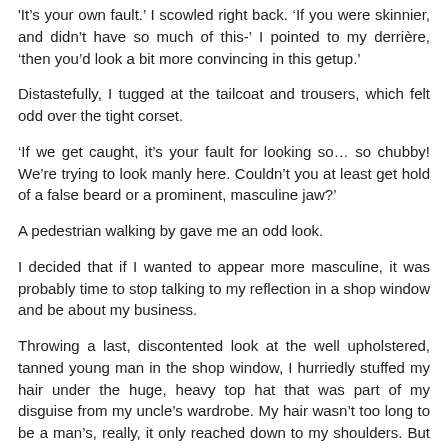'It's your own fault.' I scowled right back. 'If you were skinnier, and didn't have so much of this-' I pointed to my derrière, 'then you'd look a bit more convincing in this getup.'
Distastefully, I tugged at the tailcoat and trousers, which felt odd over the tight corset.
'If we get caught, it's your fault for looking so… so chubby! We're trying to look manly here. Couldn't you at least get hold of a false beard or a prominent, masculine jaw?'
A pedestrian walking by gave me an odd look.
I decided that if I wanted to appear more masculine, it was probably time to stop talking to my reflection in a shop window and be about my business.
Throwing a last, discontented look at the well upholstered, tanned young man in the shop window, I hurriedly stuffed my hair under the huge, heavy top hat that was part of my disguise from my uncle's wardrobe. My hair wasn't too long to be a man's, really, it only reached down to my shoulders. But not many young men had